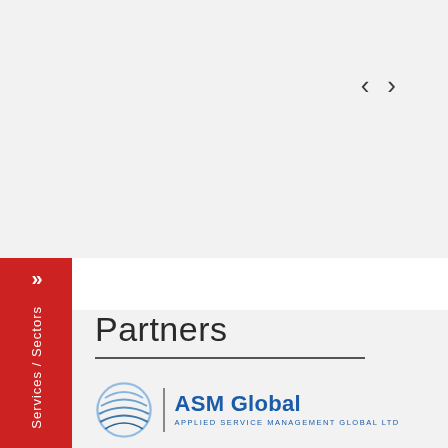[Figure (other): Navigation arrows (left chevron and right chevron) for a carousel or slider, positioned top right]
[Figure (other): Red vertical sidebar tab with double chevron and rotated text reading 'Services / Sectors']
Partners
[Figure (logo): ASM Global logo: blue stylized globe icon, vertical divider, text 'ASM Global' in blue bold, subtitle 'APPLIED SERVICE MANAGEMENT GLOBAL LTD' in small blue caps]
[Figure (logo): BMC logo: orange stylized X/chevron icon, large dark gray bold text 'bmc' (partial, cut off at bottom)]